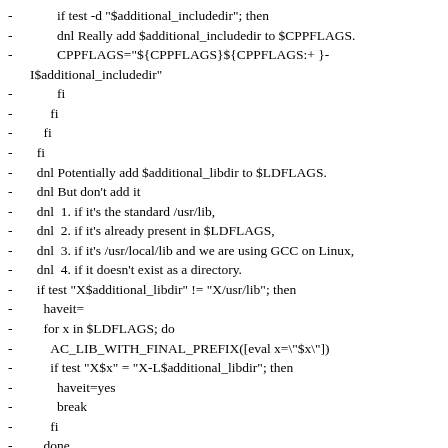- if test -d "$additional_includedir"; then
- dnl Really add $additional_includedir to $CPPFLAGS.
- CPPFLAGS="${CPPFLAGS}${CPPFLAGS:+ }-I$additional_includedir"
- fi
- fi
- fi
- fi
- dnl Potentially add $additional_libdir to $LDFLAGS.
- dnl But don't add it
- dnl 1. if it's the standard /usr/lib,
- dnl 2. if it's already present in $LDFLAGS,
- dnl 3. if it's /usr/local/lib and we are using GCC on Linux,
- dnl 4. if it doesn't exist as a directory.
- if test "X$additional_libdir" != "X/usr/lib"; then
- haveit=
- for x in $LDFLAGS; do
- AC_LIB_WITH_FINAL_PREFIX([eval x=\"$x\"])
- if test "X$x" = "X-L$additional_libdir"; then
- haveit=yes
- break
- fi
- done
- if test -z "$haveit"; then
- if test "X$additional_libdir" = "X/usr/local/lib"; then